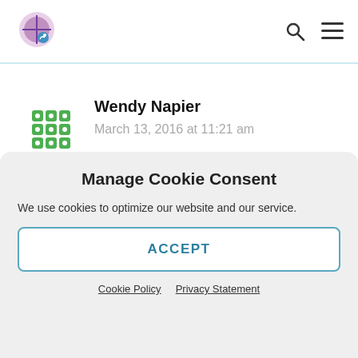[Figure (logo): Website logo with circular graphic and nav icons (search and hamburger menu)]
Wendy Napier
March 13, 2016 at 11:21 am
I have got to have these!!!
Manage Cookie Consent
We use cookies to optimize our website and our service.
ACCEPT
Cookie Policy   Privacy Statement